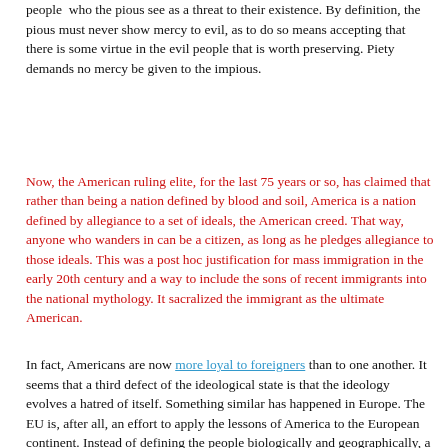people  who the pious see as a threat to their existence. By definition, the pious must never show mercy to evil, as to do so means accepting that there is some virtue in the evil people that is worth preserving. Piety demands no mercy be given to the impious.
Now, the American ruling elite, for the last 75 years or so, has claimed that rather than being a nation defined by blood and soil, America is a nation defined by allegiance to a set of ideals, the American creed. That way, anyone who wanders in can be a citizen, as long as he pledges allegiance to those ideals. This was a post hoc justification for mass immigration in the early 20th century and a way to include the sons of recent immigrants into the national mythology. It sacralized the immigrant as the ultimate American.
In fact, Americans are now more loyal to foreigners than to one another. It seems that a third defect of the ideological state is that the ideology evolves a hatred of itself. Something similar has happened in Europe. The EU is, after all, an effort to apply the lessons of America to the European continent. Instead of defining the people biologically and geographically, a